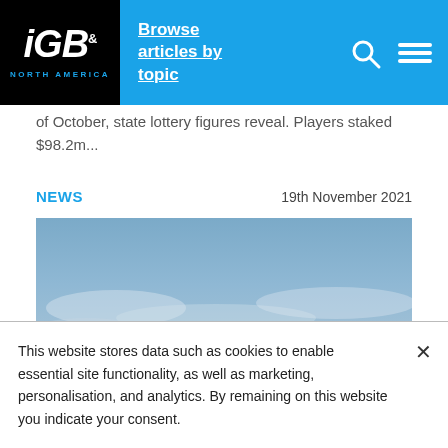iGB NORTH AMERICA — Browse articles by topic
of October, state lottery figures reveal. Players staked $98.2m...
NEWS   19th November 2021
[Figure (photo): Sky with clouds, muted blue-grey tones]
This website stores data such as cookies to enable essential site functionality, as well as marketing, personalisation, and analytics. By remaining on this website you indicate your consent.